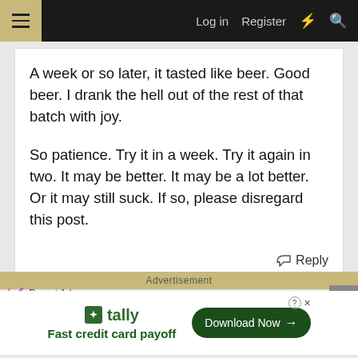Log in  Register
A week or so later, it tasted like beer. Good beer. I drank the hell out of the rest of that batch with joy.

So patience. Try it in a week. Try it again in two. It may be better. It may be a lot better. Or it may still suck. If so, please disregard this post.
Reply
Advertisement
Report Ad
[Figure (screenshot): Tally ad: Fast credit card payoff with Download Now button]